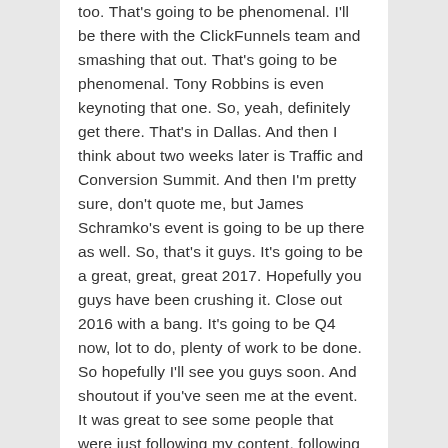too.  That's going to be phenomenal.  I'll be there with the ClickFunnels team and smashing that out.  That's going to be phenomenal.  Tony Robbins is even keynoting that one.  So, yeah, definitely get there.  That's in Dallas.  And then I think about two weeks later is Traffic and Conversion Summit.  And then I'm pretty sure, don't quote me, but James Schramko's event is going to be up there as well.  So, that's it guys.  It's going to be a great, great, great 2017.  Hopefully you guys have been crushing it.  Close out 2016 with a bang.  It's going to be Q4 now, lot to do, plenty of work to be done.  So hopefully I'll see you guys soon.  And shoutout if you've seen me at the event.  It was great to see some people that were just following my content, following the blog.  Every single time